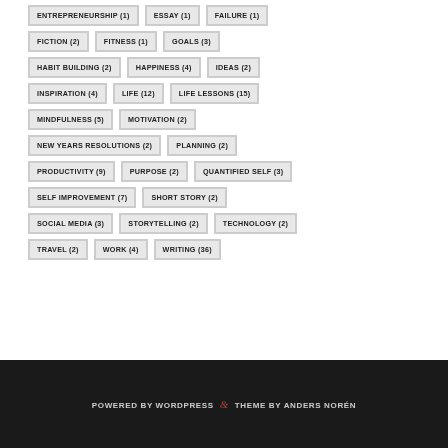ENTREPRENEURSHIP (1)
ESSAY (1)
FAILURE (1)
FICTION (2)
FITNESS (1)
GOALS (3)
HABIT BUILDING (2)
HAPPINESS (4)
IDEAS (2)
INSPIRATION (4)
LIFE (12)
LIFE LESSONS (15)
MINDFULNESS (5)
MOTIVATION (2)
NEW YEARS RESOLUTIONS (2)
PLANNING (2)
PRODUCTIVITY (9)
PURPOSE (2)
QUANTIFIED SELF (3)
SELF IMPROVEMENT (7)
SHORT STORY (2)
SOCIAL MEDIA (3)
STORYTELLING (2)
TECHNOLOGY (2)
TRAVEL (2)
WORK (4)
WRITING (36)
POWERED BY WORDPRESS & THEME BY ANDERS NORÉN